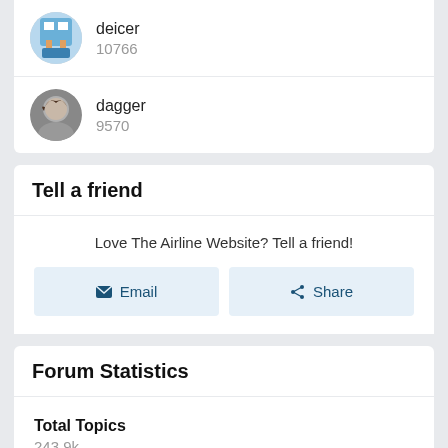deicer
10766
dagger
9570
Tell a friend
Love The Airline Website? Tell a friend!
✉ Email
Share
Forum Statistics
Total Topics
243.9k